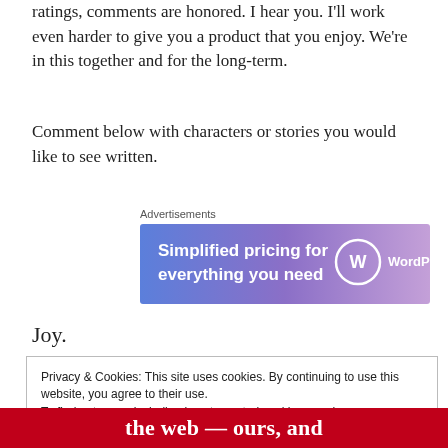ratings, comments are honored. I hear you. I'll work even harder to give you a product that you enjoy. We're in this together and for the long-term.
Comment below with characters or stories you would like to see written.
[Figure (screenshot): Advertisements banner: WordPress.com ad with text 'Simplified pricing for everything you need' on a blue-to-purple gradient background with WordPress logo]
Joy.
Privacy & Cookies: This site uses cookies. By continuing to use this website, you agree to their use.
To find out more, including how to control cookies, see here: Cookie Policy
the web — ours, and